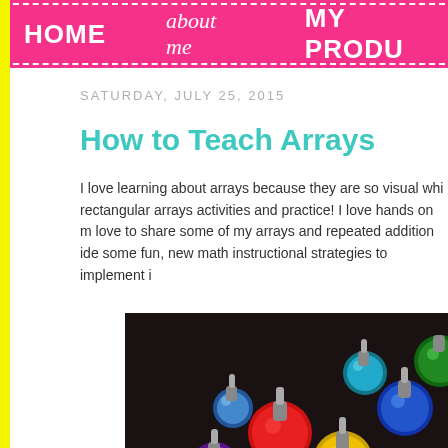HOME   about me   MY PRODU
SATURDAY, JULY 25, 2015
How to Teach Arrays
I love learning about arrays because they are so visual whi rectangular arrays activities and practice! I love hands on m love to share some of my arrays and repeated addition ide some fun, new math instructional strategies to implement i
[Figure (photo): Colorful paint dot markers (bingo daubers) scattered on a dark background, showing red, yellow, blue, green, purple and other colors]